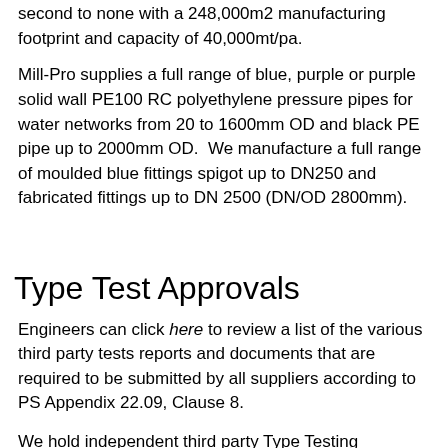second to none with a 248,000m2 manufacturing footprint and capacity of 40,000mt/pa.
Mill-Pro supplies a full range of blue, purple or purple solid wall PE100 RC polyethylene pressure pipes for water networks from 20 to 1600mm OD and black PE pipe up to 2000mm OD.  We manufacture a full range of moulded blue fittings spigot up to DN250 and fabricated fittings up to DN 2500 (DN/OD 2800mm).
Type Test Approvals
Engineers can click here to review a list of the various third party tests reports and documents that are required to be submitted by all suppliers according to PS Appendix 22.09, Clause 8.
We hold independent third party Type Testing certification